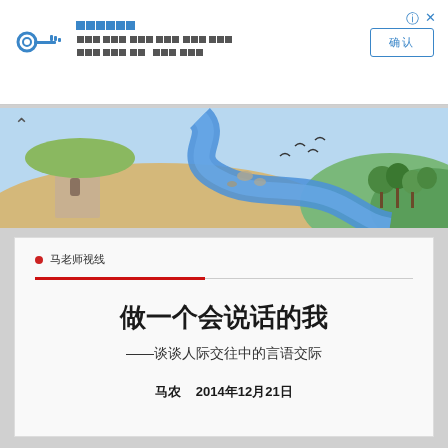VPN notification bar with key icon, title (unreadable squares), description text, and a button (确认)
[Figure (illustration): Colorful cartoon landscape illustration showing a great wall section on the left, sandy terrain, a blue river winding through, birds in the sky, and green trees on the right. A chevron/up-arrow button is overlaid on the top-left.]
马老师视线
做一个会说话的我
——谈谈人际交往中的言语交际
马农    2014年12月21日